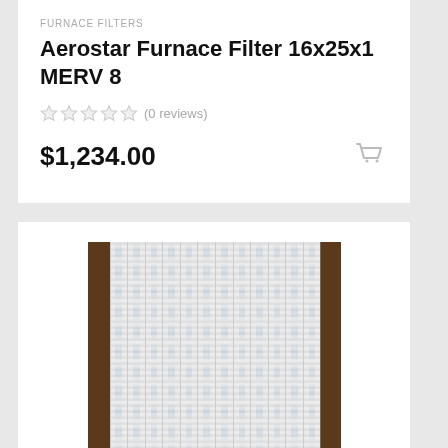FURNACE FILTERS
Aerostar Furnace Filter 16x25x1 MERV 8
(0 reviews)
$1,234.00
[Figure (photo): Photo of multiple Aerostar furnace filters stacked side by side, showing white filter material with blue text labeling, enclosed in a brown wooden or cardboard frame, against a gray background.]